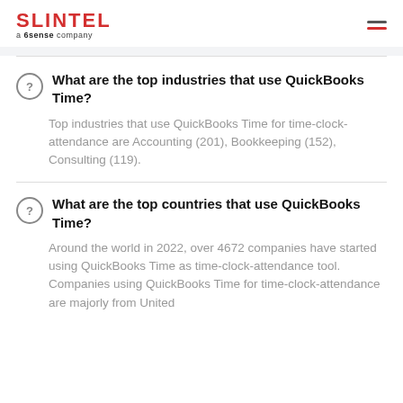SLINTEL a 6sense company
What are the top industries that use QuickBooks Time?
Top industries that use QuickBooks Time for time-clock-attendance are Accounting (201), Bookkeeping (152), Consulting (119).
What are the top countries that use QuickBooks Time?
Around the world in 2022, over 4672 companies have started using QuickBooks Time as time-clock-attendance tool. Companies using QuickBooks Time for time-clock-attendance are majorly from United